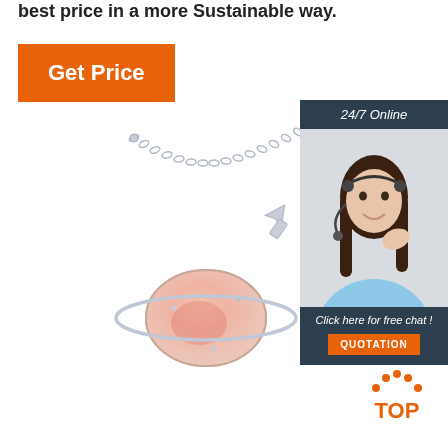best price in a more Sustainable way.
Get Price
[Figure (photo): Silver planet-shaped necklace with pink gemstone and star accents on a chain]
[Figure (photo): 24/7 Online chat support box with woman wearing headset, 'Click here for free chat!' text and orange QUOTATION button]
[Figure (logo): TOP logo with orange dots arranged in arc above the word TOP in orange]